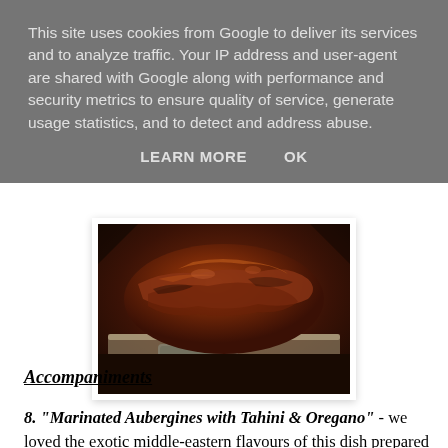This site uses cookies from Google to deliver its services and to analyze traffic. Your IP address and user-agent are shared with Google along with performance and security metrics to ensure quality of service, generate usage statistics, and to detect and address abuse.
LEARN MORE    OK
[Figure (photo): Close-up photo of glazed/roasted meat (appears to be ribs or brisket) in a dark roasting pan, shot in low light with dark amber tones]
Accompaniments
8. "Marinated Aubergines with Tahini & Oregano" - we loved the exotic middle-eastern flavours of this dish prepared by Linda, one of our regular members. Originally from Hong Kong, Linda